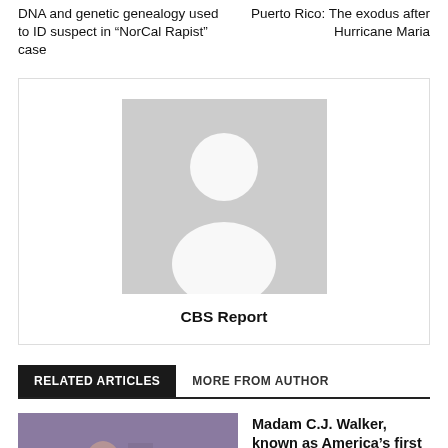DNA and genetic genealogy used to ID suspect in “NorCal Rapist” case
Puerto Rico: The exodus after Hurricane Maria
[Figure (illustration): Author placeholder image (grey silhouette of a person on grey background) with name CBS Report below]
CBS Report
RELATED ARTICLES
MORE FROM AUTHOR
[Figure (photo): Thumbnail photo with Business label overlay showing a historical scene]
Madam C.J. Walker, known as America’s first self-made female millionaire, honored with Barbie